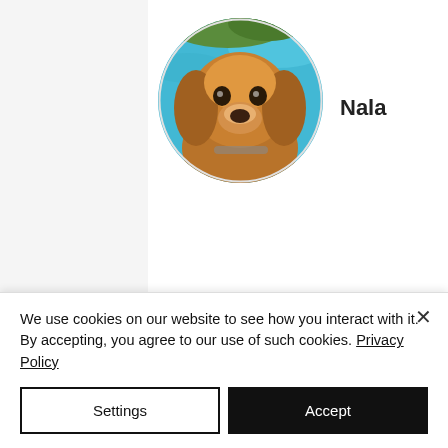[Figure (photo): Circular profile photo of a golden/brown cocker spaniel dog named Nala, photographed near a blue swimming pool]
Nala
[Figure (photo): Circular profile photo of a dark/black curly-haired dog (partially visible, cut off at bottom), named Cooper]
Cooper
We use cookies on our website to see how you interact with it. By accepting, you agree to our use of such cookies. Privacy Policy
Settings
Accept